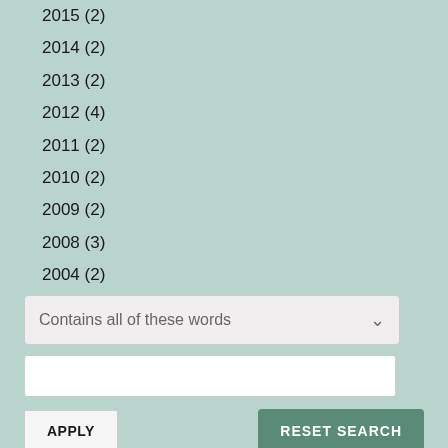2015 (2)
2014 (2)
2013 (2)
2012 (4)
2011 (2)
2010 (2)
2009 (2)
2008 (3)
2004 (2)
2000 (2)
Contains all of these words
APPLY
RESET SEARCH
HIDE SEARCH FILTERS